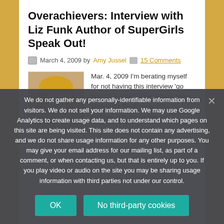Overachievers: Interview with Liz Funk Author of SuperGirls Speak Out!
March 4, 2009 by Amy Jussel  15 Comments
Mar. 4, 2009 I'm berating myself for not having this interview 'go live' on Eastern time, where teen author Liz Funk (now 20) resides...I'm doing the
We do not gather any personally-identifiable information from visitors. We do not sell your information. We may use Google Analytics to create usage data, and to understand which pages on this site are being visited. This site does not contain any advertising, and we do not share usage information for any other purposes. You may give your email address for our mailing list, as part of a comment, or when contacting us, but that is entirely up to you. If you play video or audio on the site you may be sharing usage information with third parties not under our control.
OK
No third-party cookies